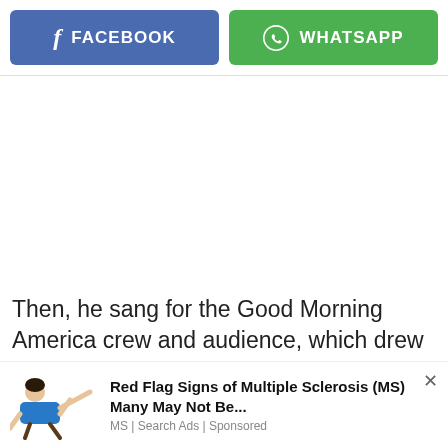[Figure (screenshot): Facebook share button (blue, rounded rectangle) with white f icon and FACEBOOK label]
[Figure (screenshot): WhatsApp share button (green, rounded rectangle) with white WhatsApp logo and WHATSAPP label]
Then, he sang for the Good Morning America crew and audience, which drew huge applause from
[Figure (infographic): Ad unit showing illustration of person falling/lying down in blue shirt, next to ad text: Red Flag Signs of Multiple Sclerosis (MS) Many May Not Be... | MS | Search Ads | Sponsored]
Red Flag Signs of Multiple Sclerosis (MS) Many May Not Be...
MS | Search Ads | Sponsored